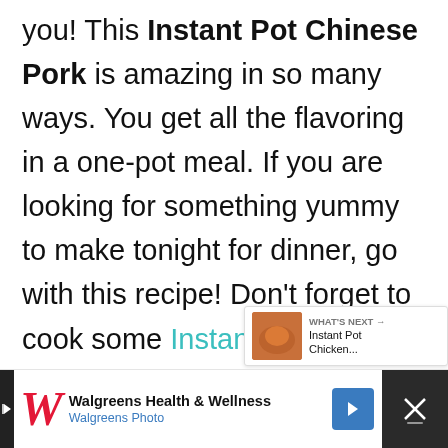you! This Instant Pot Chinese Pork is amazing in so many ways. You get all the flavoring in a one-pot meal. If you are looking for something yummy to make tonight for dinner, go with this recipe! Don't forget to cook some Instant pot rice and check out our Sweet and Sour chicken too!
[Figure (other): Walgreens Health & Wellness advertisement bar at the bottom with Walgreens logo, Walgreens Photo text, blue navigation arrow icon, and a dark close/menu button on the right]